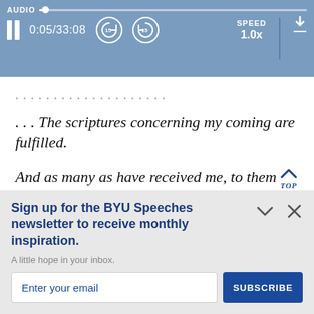[Figure (screenshot): Audio player UI bar with progress track, pause button, time display 0:05/33:08, skip back and forward 15s buttons, speed 1.0x, and download icon]
. . . The scriptures concerning my coming are fulfilled.
And as many as have received me, to them hav
Sign up for the BYU Speeches newsletter to receive monthly inspiration.
A little hope in your inbox.
Enter your email
SUBSCRIBE